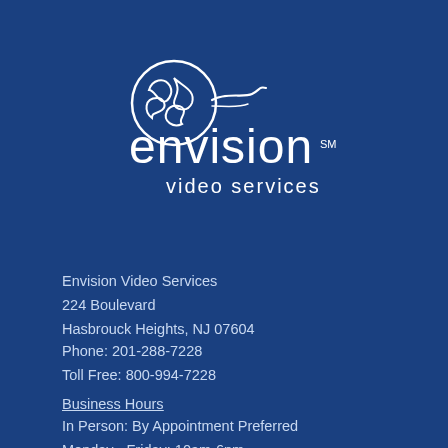[Figure (logo): Envision Video Services logo: white circular icon with stylized figure/pinwheel design and a flowing ribbon shape, above the text 'envision SM video services' in white on dark blue background]
Envision Video Services
224 Boulevard
Hasbrouck Heights, NJ 07604
Phone: 201-288-7228
Toll Free: 800-994-7228
Business Hours
In Person: By Appointment Preferred
Monday - Friday: 10am-6pm
2nd Saturday of the Month: 10am-2pm